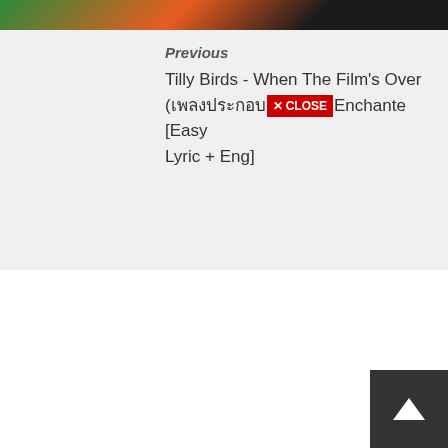[Figure (photo): Partial thumbnail image at top showing colorful abstract or music-related imagery with green, red/orange, and dark tones]
Previous
Tilly Birds - When The Film's Over (เพลงประกอบ) [X CLOSE] Enchante [Easy Lyric + Eng]
[Figure (other): Back to top button — dark square with upward pointing chevron arrow in bottom right corner]